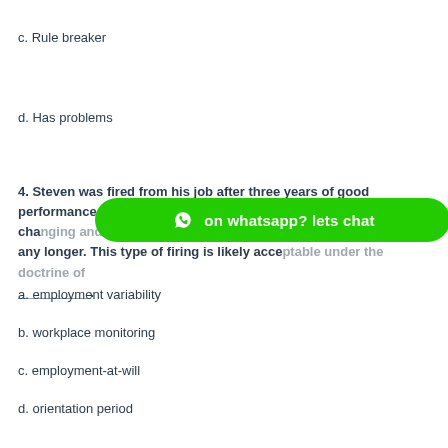c. Rule breaker
d. Has problems
4. Steven was fired from his job after three years of good performance. His boss simply said that the organization was changing and needed his position any longer. This type of firing is likely acceptable under the doctrine of __________.
a. employment variability
b. workplace monitoring
c. employment-at-will
d. orientation period